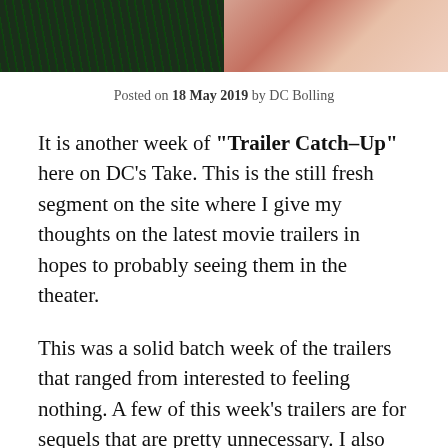[Figure (photo): Header image split into two halves: left half shows dark green background with diagonal text/lines overlay, right half shows warm skin-toned gradient background resembling a close-up photo.]
Posted on 18 May 2019 by DC Bolling
It is another week of “Trailer Catch–Up” here on DC’s Take. This is the still fresh segment on the site where I give my thoughts on the latest movie trailers in hopes to probably seeing them in the theater.
This was a solid batch week of the trailers that ranged from interested to feeling nothing. A few of this week’s trailers are for sequels that are pretty unnecessary. I also posted the trailers below if you want to watch it.
With that out of the way, let’s jump on in!